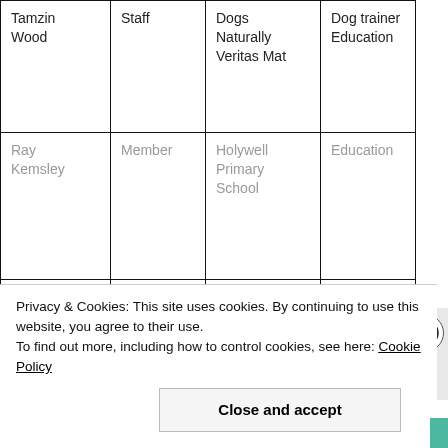| Name | Role | Organisation | Sector |
| --- | --- | --- | --- |
| Tamzin Wood | Staff | Dogs Naturally
Veritas Mat | Dog trainer Education |
| Ray Kemsley | Member | Holywell Primary School | Education |
| Christina Chemsi | Local Governor | Maidstone Borough Council
Salvation | Local Government
Community/Rel |
Privacy & Cookies: This site uses cookies. By continuing to use this website, you agree to their use.
To find out more, including how to control cookies, see here: Cookie Policy